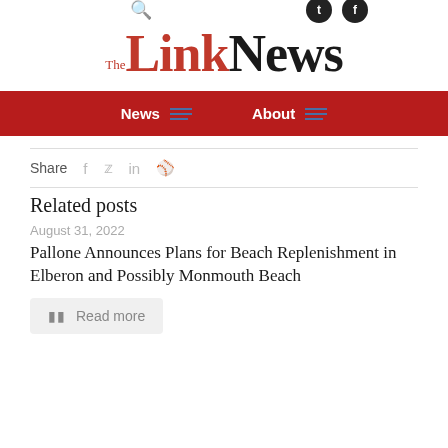The Link News — navigation header with News and About menus
The Link News
Share
Related posts
August 31, 2022
Pallone Announces Plans for Beach Replenishment in Elberon and Possibly Monmouth Beach
Read more